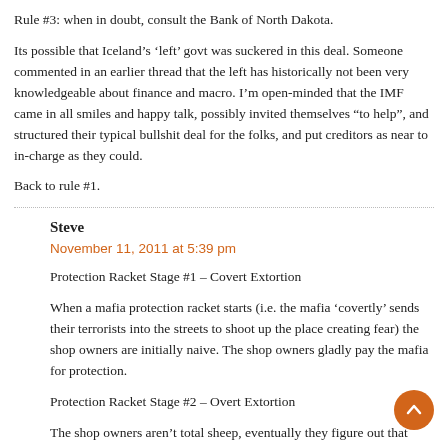Rule #3: when in doubt, consult the Bank of North Dakota.
Its possible that Iceland’s ‘left’ govt was suckered in this deal. Someone commented in an earlier thread that the left has historically not been very knowledgeable about finance and macro. I’m open-minded that the IMF came in all smiles and happy talk, possibly invited themselves “to help”, and structured their typical bullshit deal for the folks, and put creditors as near to in-charge as they could.
Back to rule #1.
Steve
November 11, 2011 at 5:39 pm
Protection Racket Stage #1 – Covert Extortion
When a mafia protection racket starts (i.e. the mafia ‘covertly’ sends their terrorists into the streets to shoot up the place creating fear) the shop owners are initially naive. The shop owners gladly pay the mafia for protection.
Protection Racket Stage #2 – Overt Extortion
The shop owners aren’t total sheep, eventually they figure out that their terrorists and their protectors are